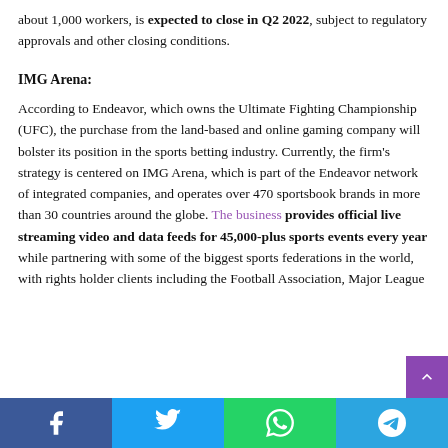about 1,000 workers, is expected to close in Q2 2022, subject to regulatory approvals and other closing conditions.
IMG Arena:
According to Endeavor, which owns the Ultimate Fighting Championship (UFC), the purchase from the land-based and online gaming company will bolster its position in the sports betting industry. Currently, the firm’s strategy is centered on IMG Arena, which is part of the Endeavor network of integrated companies, and operates over 470 sportsbook brands in more than 30 countries around the globe. The business provides official live streaming video and data feeds for 45,000-plus sports events every year while partnering with some of the biggest sports federations in the world, with rights holder clients including the Football Association, Major League
Facebook Twitter WhatsApp Telegram